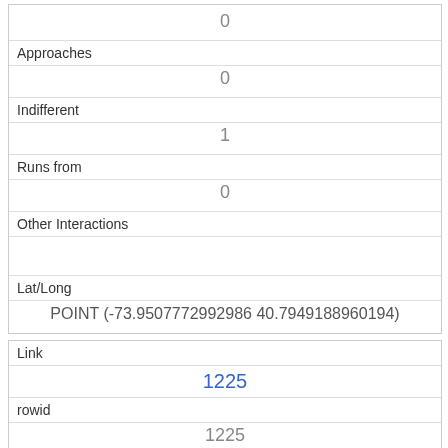|  | 0 |
| Approaches | 0 |
| Indifferent | 1 |
| Runs from | 0 |
| Other Interactions |  |
| Lat/Long | POINT (-73.9507772992986 40.7949188960194) |
| Link | 1225 |
| rowid | 1225 |
| longitude | -73.95848035139392 |
| latitude | 40.7933802077327 |